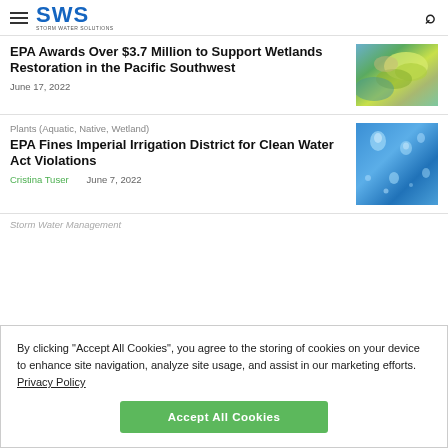SWS – Storm Water Solutions
EPA Awards Over $3.7 Million to Support Wetlands Restoration in the Pacific Southwest
June 17, 2022
[Figure (photo): Aerial view of wetlands with yellow-green vegetation and blue water]
Plants (Aquatic, Native, Wetland)
EPA Fines Imperial Irrigation District for Clean Water Act Violations
[Figure (photo): Close-up of water droplets on a blue surface]
Cristina Tuser    June 7, 2022
Storm Water Management
By clicking "Accept All Cookies", you agree to the storing of cookies on your device to enhance site navigation, analyze site usage, and assist in our marketing efforts. Privacy Policy
Accept All Cookies